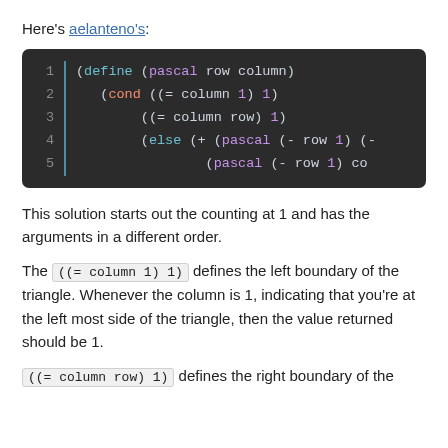Here's aelanteno's:
[Figure (screenshot): Code block showing Scheme/Racket code for a pascal function with syntax highlighting. Lines 1-5: (define (pascal row column) / (cond ((= column 1) 1) / ((= column row) 1) / (else (+ (pascal (- row 1) (- ... / (pascal (- row 1) co...]
This solution starts out the counting at 1 and has the arguments in a different order.
The ((= column 1) 1) defines the left boundary of the triangle. Whenever the column is 1, indicating that you're at the left most side of the triangle, then the value returned should be 1.
((= column row) 1) defines the right boundary of the ...